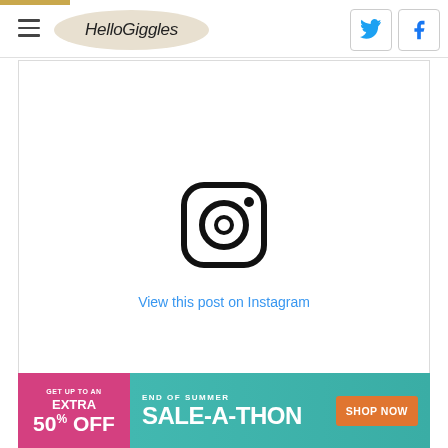HelloGiggles
[Figure (illustration): Instagram embed placeholder with Instagram camera icon and 'View this post on Instagram' link in blue]
View this post on Instagram
[Figure (infographic): Advertisement banner: 'GET UP TO AN EXTRA 50% OFF' on pink/magenta background, 'END OF SUMMER SALE-A-THON' on teal background with 'SHOP NOW' orange button]